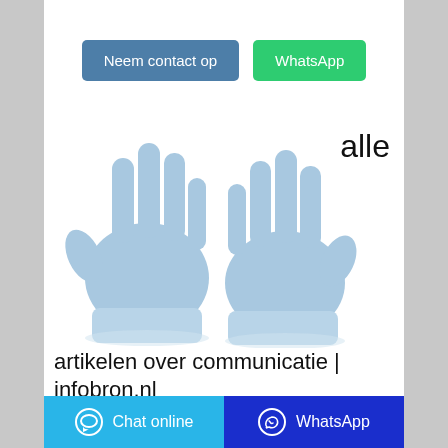[Figure (other): Two blue nitrile disposable gloves shown palm-up on white background]
alle
artikelen over communicatie | infobron.nl
Chat online   WhatsApp